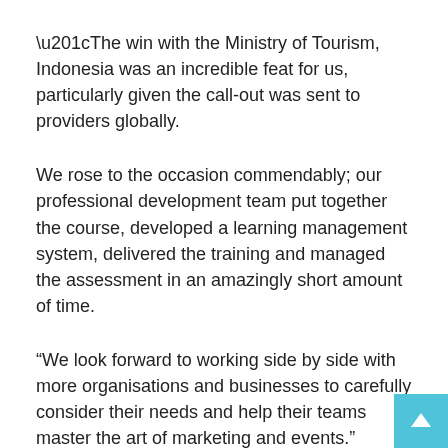“The win with the Ministry of Tourism, Indonesia was an incredible feat for us, particularly given the call-out was sent to providers globally.
We rose to the occasion commendably; our professional development team put together the course, developed a learning management system, delivered the training and managed the assessment in an amazingly short amount of time.
“We look forward to working side by side with more organisations and businesses to carefully consider their needs and help their teams master the art of marketing and events.”
Kusdiana Lusi Kartikasari, Policy Analyst at Ministry of Tourism and Creative Economy of Republic of Indonesia, commented: